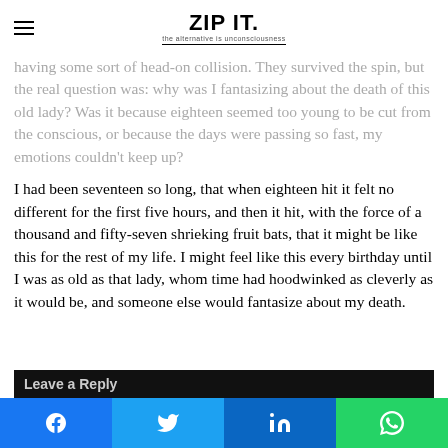ZIP IT. the alternative is unconsciousness
having some sort of head-on collision. They survived the spin, but the real question was: why was I fantasizing about the death of this old lady? Was it because eighteen seemed too young to be cut from the conscious, or because the days were passing so fast, my emotions couldn't keep up?
I had been seventeen so long, that when eighteen hit it felt no different for the first five hours, and then it hit, with the force of a thousand and fifty-seven shrieking fruit bats, that it might be like this for the rest of my life. I might feel like this every birthday until I was as old as that lady, whom time had hoodwinked as cleverly as it would be, and someone else would fantasize about my death.
Leave a Reply
Facebook Twitter LinkedIn WhatsApp